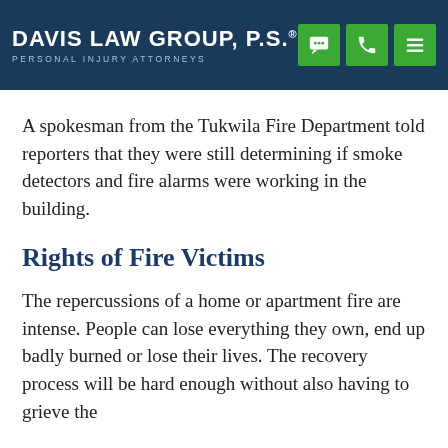Davis Law Group, P.S. — Personal Injury Attorneys
A spokesman from the Tukwila Fire Department told reporters that they were still determining if smoke detectors and fire alarms were working in the building.
Rights of Fire Victims
The repercussions of a home or apartment fire are intense. People can lose everything they own, end up badly burned or lose their lives. The recovery process will be hard enough without also having to grieve the